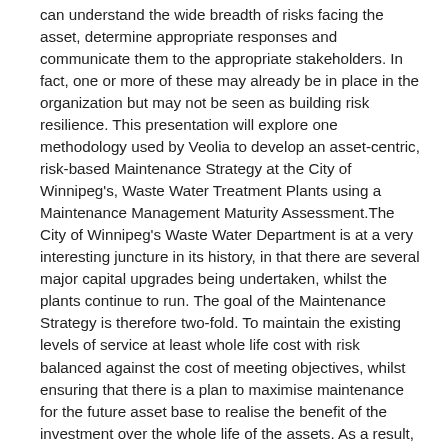can understand the wide breadth of risks facing the asset, determine appropriate responses and communicate them to the appropriate stakeholders. In fact, one or more of these may already be in place in the organization but may not be seen as building risk resilience. This presentation will explore one methodology used by Veolia to develop an asset-centric, risk-based Maintenance Strategy at the City of Winnipeg's, Waste Water Treatment Plants using a Maintenance Management Maturity Assessment.The City of Winnipeg's Waste Water Department is at a very interesting juncture in its history, in that there are several major capital upgrades being undertaken, whilst the plants continue to run. The goal of the Maintenance Strategy is therefore two-fold. To maintain the existing levels of service at least whole life cost with risk balanced against the cost of meeting objectives, whilst ensuring that there is a plan to maximise maintenance for the future asset base to realise the benefit of the investment over the whole life of the assets. As a result, in 2016, in collaboration with its selected O&M improvement partner, Veolia North America, the City of Winnipeg's Waste Water Treatment Plants, went on a path of discovery. Two significant tools of investigation were employed: 1. An Asset Management Maturity Assessment was conducted and 2. The